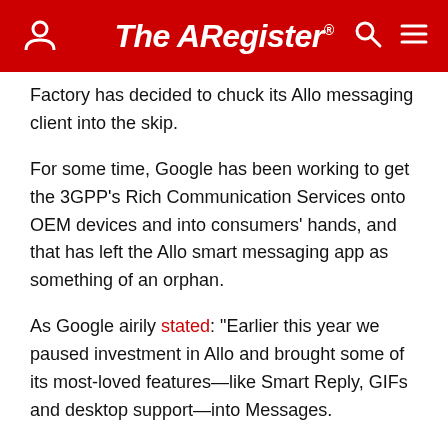The Register
Factory has decided to chuck its Allo messaging client into the skip.
For some time, Google has been working to get the 3GPP's Rich Communication Services onto OEM devices and into consumers' hands, and that has left the Allo smart messaging app as something of an orphan.
As Google airily stated: "Earlier this year we paused investment in Allo and brought some of its most-loved features—like Smart Reply, GIFs and desktop support—into Messages.